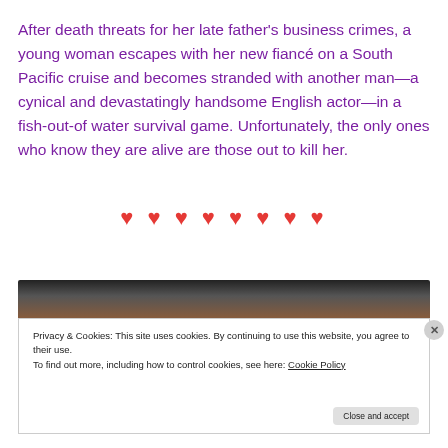After death threats for her late father's business crimes, a young woman escapes with her new fiancé on a South Pacific cruise and becomes stranded with another man—a cynical and devastatingly handsome English actor—in a fish-out-of water survival game. Unfortunately, the only ones who know they are alive are those out to kill her.
♥ ♥ ♥ ♥ ♥ ♥ ♥ ♥
[Figure (photo): Partial photo of a person, cropped, dark background]
Privacy & Cookies: This site uses cookies. By continuing to use this website, you agree to their use.
To find out more, including how to control cookies, see here: Cookie Policy
Close and accept